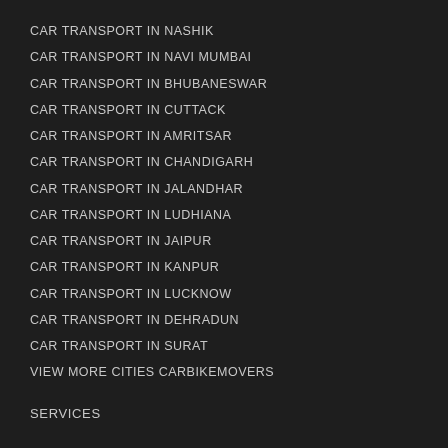CAR TRANSPORT IN NASHIK
CAR TRANSPORT IN NAVI MUMBAI
CAR TRANSPORT IN BHUBANESWAR
CAR TRANSPORT IN CUTTACK
CAR TRANSPORT IN AMRITSAR
CAR TRANSPORT IN CHANDIGARH
CAR TRANSPORT IN JALANDHAR
CAR TRANSPORT IN LUDHIANA
CAR TRANSPORT IN JAIPUR
CAR TRANSPORT IN KANPUR
CAR TRANSPORT IN LUCKNOW
CAR TRANSPORT IN DEHRADUN
CAR TRANSPORT IN SURAT
VIEW MORE CITIES CARBIKEMOVERS
SERVICES